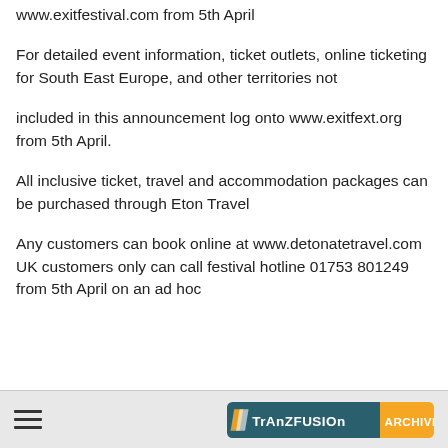www.exitfestival.com from 5th April
For detailed event information, ticket outlets, online ticketing for South East Europe, and other territories not
included in this announcement log onto www.exitfext.org from 5th April.
All inclusive ticket, travel and accommodation packages can be purchased through Eton Travel
Any customers can book online at www.detonatetravel.com UK customers only can call festival hotline 01753 801249 from 5th April on an ad hoc
TRANZFUSION ARCHIVE